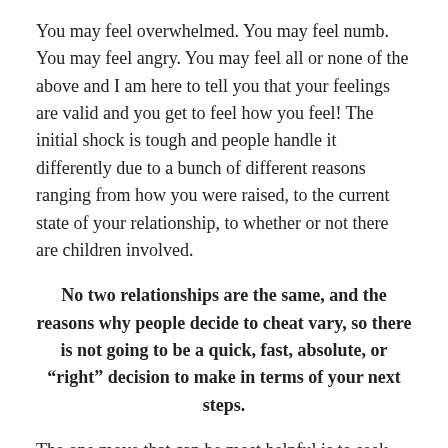You may feel overwhelmed. You may feel numb. You may feel angry. You may feel all or none of the above and I am here to tell you that your feelings are valid and you get to feel how you feel! The initial shock is tough and people handle it differently due to a bunch of different reasons ranging from how you were raised, to the current state of your relationship, to whether or not there are children involved.
No two relationships are the same, and the reasons why people decide to cheat vary, so there is not going to be a quick, fast, absolute, or “right” decision to make in terms of your next steps.
The one move that can be most helpful is to seek support. Yes, I am a therapist and I do believe in the therapeutic process, but I do not all that much...